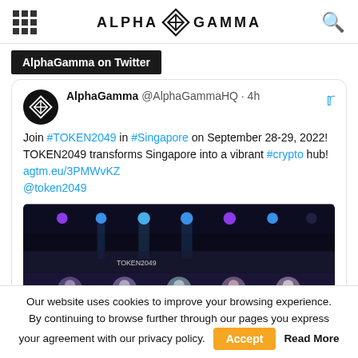ALPHA GAMMA
AlphaGamma on Twitter
AlphaGamma @AlphaGammaHQ · 4h
Join #TOKEN2049 in #Singapore on September 28-29, 2022! TOKEN2049 transforms Singapore into a vibrant #crypto hub! agtm.eu/3PMWvKZ @token2049
[Figure (photo): Event stage photo with colored lights above and speaker profile images below on a banner]
Our website uses cookies to improve your browsing experience. By continuing to browse further through our pages you express your agreement with our privacy policy.